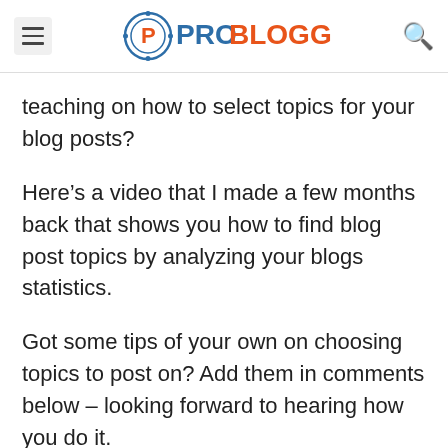ProBlogger
teaching on how to select topics for your blog posts?
Here’s a video that I made a few months back that shows you how to find blog post topics by analyzing your blogs statistics.
Got some tips of your own on choosing topics to post on? Add them in comments below – looking forward to hearing how you do it.